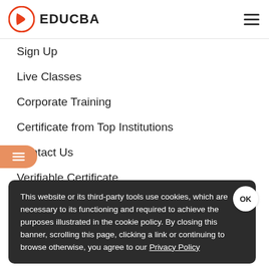EDUCBA
Sign Up
Live Classes
Corporate Training
Certificate from Top Institutions
Contact Us
Verifiable Certificate
Reviews
This website or its third-party tools use cookies, which are necessary to its functioning and required to achieve the purposes illustrated in the cookie policy. By closing this banner, scrolling this page, clicking a link or continuing to browse otherwise, you agree to our Privacy Policy